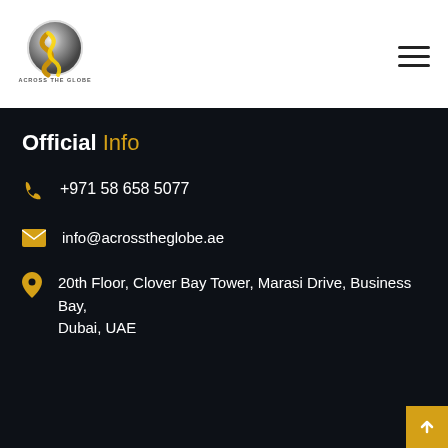[Figure (logo): Across The Globe company logo — circular globe icon with gold/silver design and text 'ACROSS THE GLOBE' below]
Official Info
+971 58 658 5077
info@acrosstheglobe.ae
20th Floor, Clover Bay Tower, Marasi Drive, Business Bay, Dubai, UAE